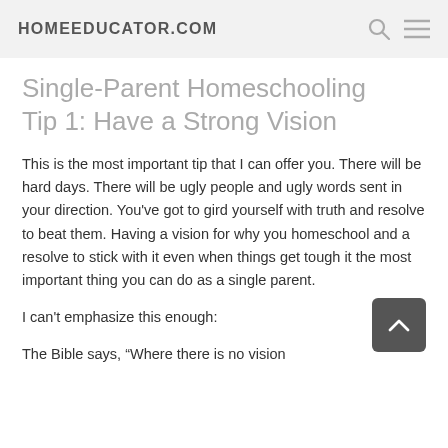HOMEEDUCATOR.COM
Single-Parent Homeschooling Tip 1: Have a Strong Vision
This is the most important tip that I can offer you. There will be hard days. There will be ugly people and ugly words sent in your direction. You’ve got to gird yourself with truth and resolve to beat them. Having a vision for why you homeschool and a resolve to stick with it even when things get tough it the most important thing you can do as a single parent.
I can’t emphasize this enough:
The Bible says, “Where there is no vision